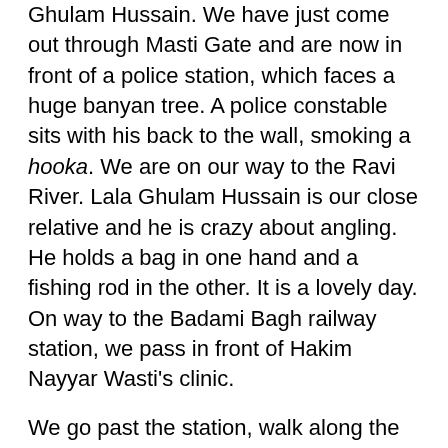Ghulam Hussain. We have just come out through Masti Gate and are now in front of a police station, which faces a huge banyan tree. A police constable sits with his back to the wall, smoking a hooka. We are on our way to the Ravi River. Lala Ghulam Hussain is our close relative and he is crazy about angling. He holds a bag in one hand and a fishing rod in the other. It is a lovely day. On way to the Badami Bagh railway station, we pass in front of Hakim Nayyar Wasti's clinic.
We go past the station, walk along the railway tracks towards the river. I love those railway tracks and the trains that move over them. When one passes, I stand and keep looking at it till it disappears into the distance.
We are now at the river. I put a foot forward over a muddy spot and I feel that I am being dragged in. I go into what are quicksands up to my knee. I scream. Lala Ghulam Hussain turns back, moves in close, and lays himself flat on the ground. He is not nervous. He asks me to try to do the same. Then he begins to move his arms as if he were swimming. He grabs hold of one of my arms and gradually pulls me out.
We turn back. We have caught no fish. We are now in our